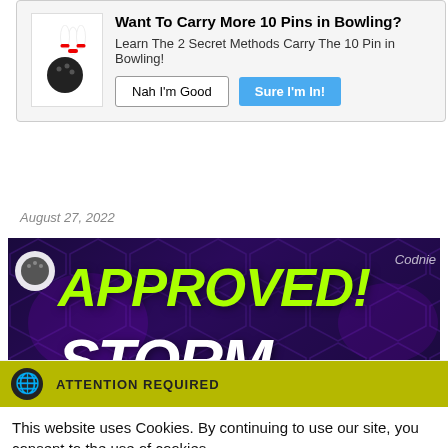[Figure (screenshot): Popup notification box with bowling ball and pins icon, asking 'Want To Carry More 10 Pins in Bowling?' with two buttons: 'Nah I'm Good' and 'Sure I'm In!']
August 27, 2022
[Figure (screenshot): Banner image with dark purple hexagon background showing 'APPROVED!' in large yellow-green italic text and 'STORM' in large white italic text, with a bowling logo on the left and 'Codnie' watermark on the right]
[Figure (screenshot): Cookie consent overlay with olive/yellow attention bar showing globe icon and 'ATTENTION REQUIRED' text, white body with cookie policy text, Accept button and Privacy Center button]
USBC APPROVED! The STORM FATE now on the